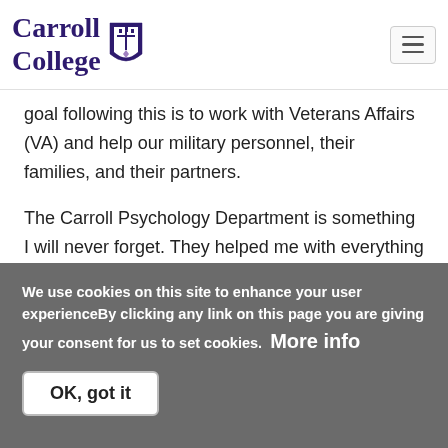Carroll College [logo]
goal following this is to work with Veterans Affairs (VA) and help our military personnel, their families, and their partners.
The Carroll Psychology Department is something I will never forget. They helped me with everything and anything ranging to adjusting to college and applying to graduate school. They are so
We use cookies on this site to enhance your user experienceBy clicking any link on this page you are giving your consent for us to set cookies. More info
OK, got it